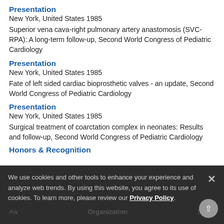Presentation
New York, United States 1985
Superior vena cava-right pulmonary artery anastomosis (SVC-RPA): A long-term follow-up, Second World Congress of Pediatric Cardiology
Presentation
New York, United States 1985
Fate of left sided cardiac bioprosthetic valves - an update, Second World Congress of Pediatric Cardiology
Presentation
New York, United States 1985
Surgical treatment of coarctation complex in neonates: Results and follow-up, Second World Congress of Pediatric Cardiology
Honors & Recognition
We use cookies and other tools to enhance your experience and analyze web trends. By using this website, you agree to its use of cookies. To learn more, please review our Privacy Policy.
Award | Date | Organization